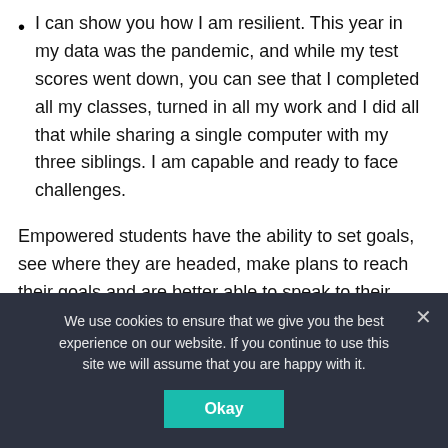I can show you how I am resilient. This year in my data was the pandemic, and while my test scores went down, you can see that I completed all my classes, turned in all my work and I did all that while sharing a single computer with my three siblings. I am capable and ready to face challenges.
Empowered students have the ability to set goals, see where they are headed, make plans to reach their goals and are better able to speak to their strengths. Empowered students can be advocates for themselves. And when students have agency over their data, they can see a comprehensive view of where the pieces come together and can see their value
We use cookies to ensure that we give you the best experience on our website. If you continue to use this site we will assume that you are happy with it.